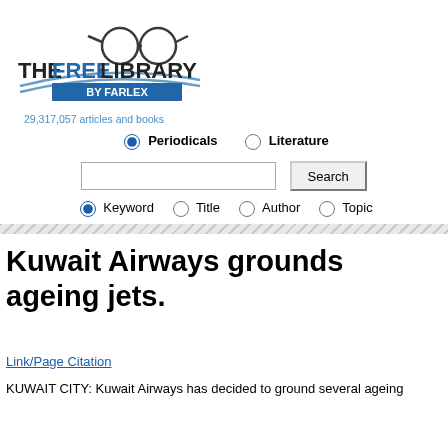[Figure (logo): The Free Library by Farlex logo with glasses and book icon]
29,317,057 articles and books
Periodicals  Literature (radio buttons)
Search input with Keyword, Title, Author, Topic radio buttons
Kuwait Airways grounds ageing jets.
Link/Page Citation
KUWAIT CITY: Kuwait Airways has decided to ground several ageing